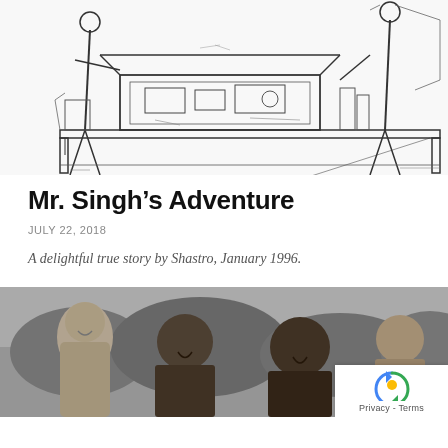[Figure (illustration): Black and white line drawing illustration showing people at a desk/table with various objects, appearing to be a scene from a story.]
Mr. Singh’s Adventure
JULY 22, 2018
A delightful true story by Shastro, January 1996.
[Figure (photo): Black and white photograph of three men smiling outdoors, with trees/foliage in the background.]